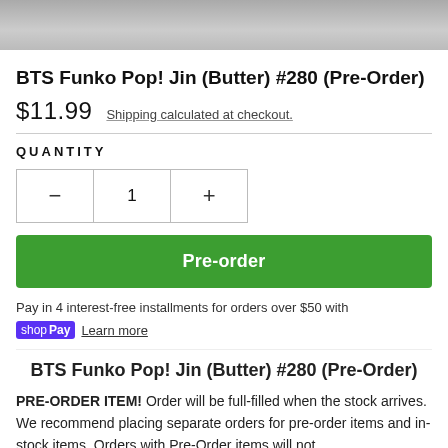[Figure (photo): Partial product photo showing BTS Funko Pop figures, cropped at bottom]
BTS Funko Pop! Jin (Butter) #280 (Pre-Order)
$11.99   Shipping calculated at checkout.
QUANTITY
- 1 +
Pre-order
Pay in 4 interest-free installments for orders over $50 with shop Pay  Learn more
BTS Funko Pop! Jin (Butter) #280 (Pre-Order)
PRE-ORDER ITEM! Order will be full-filled when the stock arrives. We recommend placing separate orders for pre-order items and in-stock items. Orders with Pre-Order items will not